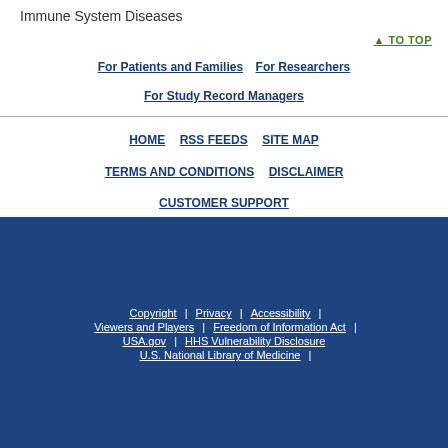Immune System Diseases
▲ TO TOP
For Patients and Families
For Researchers
For Study Record Managers
HOME
RSS FEEDS
SITE MAP
TERMS AND CONDITIONS
DISCLAIMER
CUSTOMER SUPPORT
Copyright | Privacy | Accessibility | Viewers and Players | Freedom of Information Act | USA.gov | HHS Vulnerability Disclosure | U.S. National Library of Medicine